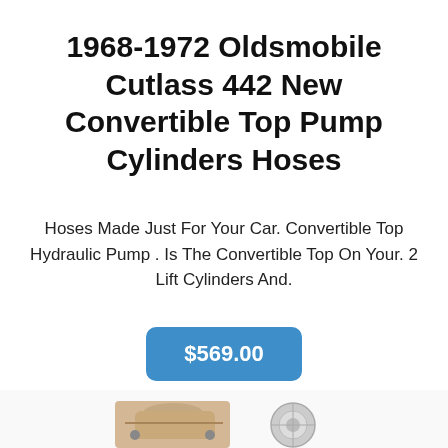1968-1972 Oldsmobile Cutlass 442 New Convertible Top Pump Cylinders Hoses
Hoses Made Just For Your Car. Convertible Top Hydraulic Pump . Is The Convertible Top On Your. 2 Lift Cylinders And.
$569.00
[Figure (photo): Partial view of two product images at the bottom of the page, partially cut off]